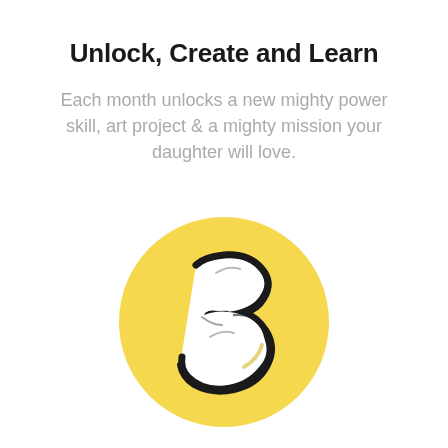Unlock, Create and Learn
Each month unlocks a new mighty power skill, art project & a mighty mission your daughter will love.
[Figure (illustration): A yellow circle containing a hand-drawn style number 3 in white with black outline sketch effect]